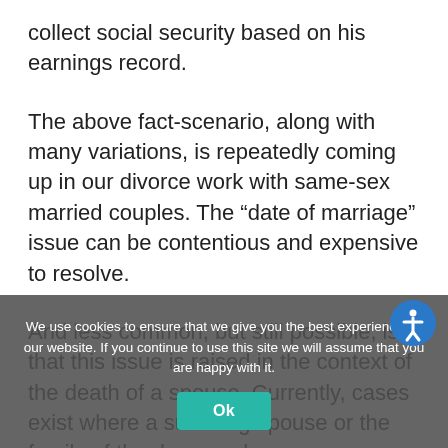collect social security based on his earnings record.
The above fact-scenario, along with many variations, is repeatedly coming up in our divorce work with same-sex married couples. The “date of marriage” issue can be contentious and expensive to resolve.
And less common, but still possible, is that this issue is raised in the context of the death of a spouse. Currently, cases exist where a surviving spouse or the family of the deceased spouse challenges, and may ultimately, the classification of the estate differently than if the date of a ceremonial marriage were used.
We use cookies to ensure that we give you the best experience on our website. If you continue to use this site we will assume that you are happy with it.